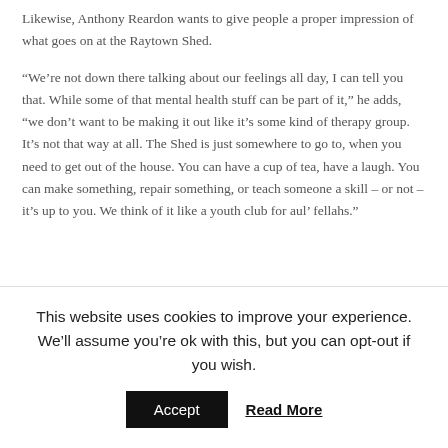Likewise, Anthony Reardon wants to give people a proper impression of what goes on at the Raytown Shed.
“We’re not down there talking about our feelings all day, I can tell you that. While some of that mental health stuff can be part of it,” he adds, “we don’t want to be making it out like it’s some kind of therapy group. It’s not that way at all. The Shed is just somewhere to go to, when you need to get out of the house. You can have a cup of tea, have a laugh. You can make something, repair something, or teach someone a skill – or not – it’s up to you. We think of it like a youth club for aul’ fellahs.”
This website uses cookies to improve your experience. We’ll assume you’re ok with this, but you can opt-out if you wish.